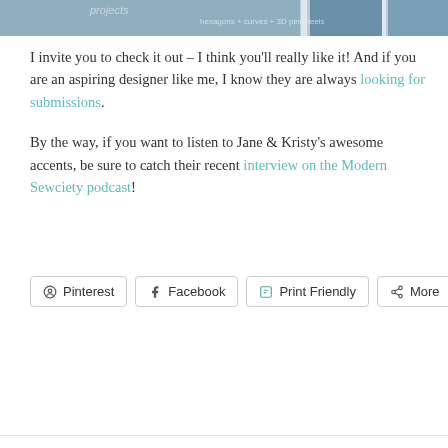[Figure (photo): Partial view of quilting/sewing project images strip at top of page, showing colorful quilt patterns with text 'hexagons + curves + 3D pinwheels']
I invite you to check it out – I think you'll really like it! And if you are an aspiring designer like me, I know they are always looking for submissions.
By the way, if you want to listen to Jane & Kristy's awesome accents, be sure to catch their recent interview on the Modern Sewciety podcast!
Pinterest  Facebook  Print Friendly  More